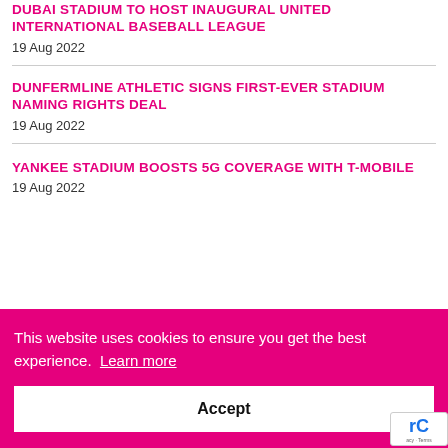DUBAI STADIUM TO HOST INAUGURAL UNITED INTERNATIONAL BASEBALL LEAGUE
19 Aug 2022
DUNFERMLINE ATHLETIC SIGNS FIRST-EVER STADIUM NAMING RIGHTS DEAL
19 Aug 2022
YANKEE STADIUM BOOSTS 5G COVERAGE WITH T-MOBILE
19 Aug 2022
This website uses cookies to ensure you get the best experience. Learn more
Accept
18 Aug 2022